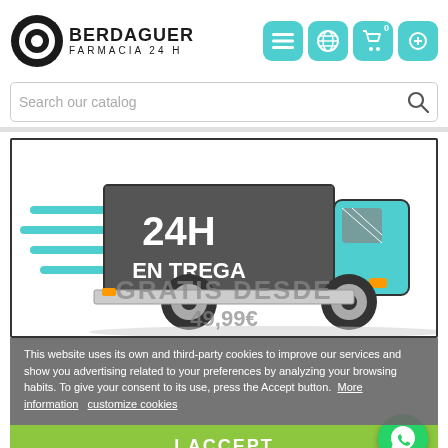[Figure (logo): Berdaguer Farmacia 24H logo with circular saw blade icon and brand text]
[Figure (screenshot): Navigation bar with menu, globe, cart (0), and another icon buttons in teal/cyan rounded squares]
[Figure (screenshot): Search bar with placeholder text 'Search our catalog' and magnifying glass icon]
[Figure (illustration): Delivery truck illustration with '24H ENTREGA' text, dark grey truck body with teal cab, speed lines on left]
GRATIS DESDE
49,99€
This website uses its own and third-party cookies to improve our services and show you advertising related to your preferences by analyzing your browsing habits. To give your consent to its use, press the Accept button.  More information   customize cookies
I ACCEPT